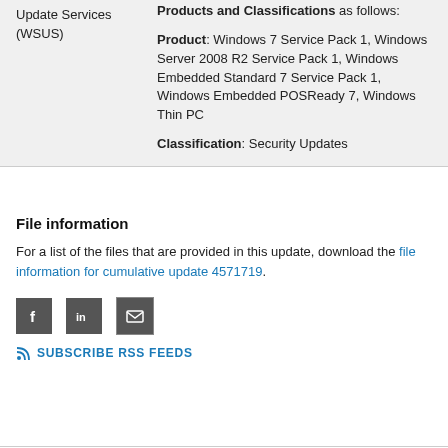Update Services (WSUS)
Products and Classifications as follows:

Product: Windows 7 Service Pack 1, Windows Server 2008 R2 Service Pack 1, Windows Embedded Standard 7 Service Pack 1, Windows Embedded POSReady 7, Windows Thin PC

Classification: Security Updates
File information
For a list of the files that are provided in this update, download the file information for cumulative update 4571719.
[Figure (other): Social sharing icons: Facebook, LinkedIn, Email, and Subscribe RSS Feeds link]